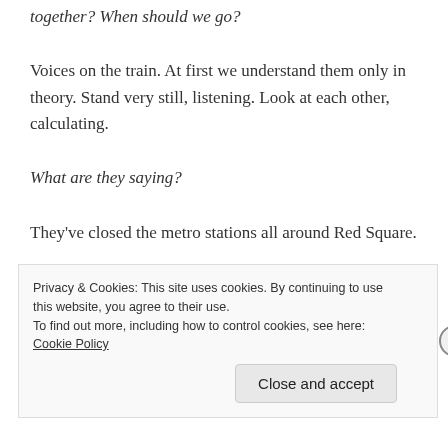together? When should we go?
Voices on the train. At first we understand them only in theory. Stand very still, listening. Look at each other, calculating.
What are they saying?
They’ve closed the metro stations all around Red Square.
Why? I guess to make it harder to get there?
Privacy & Cookies: This site uses cookies. By continuing to use this website, you agree to their use.
To find out more, including how to control cookies, see here: Cookie Policy
Close and accept